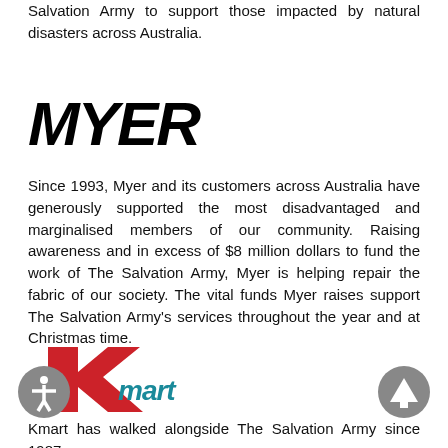Salvation Army to support those impacted by natural disasters across Australia.
[Figure (logo): MYER logo in large bold black italic text]
Since 1993, Myer and its customers across Australia have generously supported the most disadvantaged and marginalised members of our community. Raising awareness and in excess of $8 million dollars to fund the work of The Salvation Army, Myer is helping repair the fabric of our society. The vital funds Myer raises support The Salvation Army's services throughout the year and at Christmas time.
[Figure (logo): Kmart logo with red K shape and teal 'mart' text]
Kmart has walked alongside The Salvation Army since 1987,